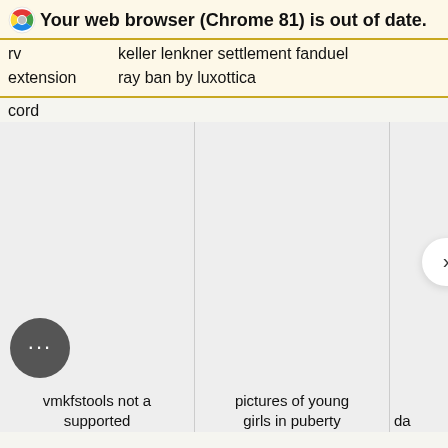Your web browser (Chrome 81) is out of date.
rv    keller lenkner settlement fanduel
extension    ray ban by luxottica
cord
[Figure (screenshot): Three product image cards in a horizontal grid, all showing blank/grey placeholder images. A right arrow navigation button is visible on the right side.]
vmkfstools not a supported
pictures of young girls in puberty
da